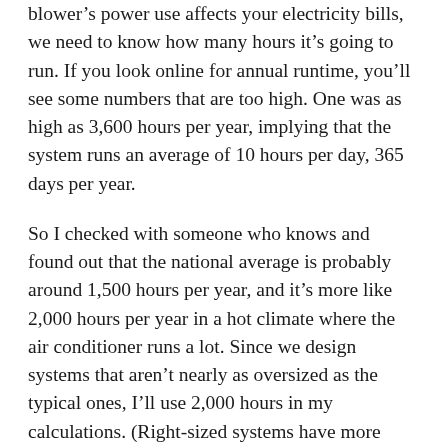blower's power use affects your electricity bills, we need to know how many hours it's going to run. If you look online for annual runtime, you'll see some numbers that are too high. One was as high as 3,600 hours per year, implying that the system runs an average of 10 hours per day, 365 days per year.
So I checked with someone who knows and found out that the national average is probably around 1,500 hours per year, and it's more like 2,000 hours per year in a hot climate where the air conditioner runs a lot. Since we design systems that aren't nearly as oversized as the typical ones, I'll use 2,000 hours in my calculations. (Right-sized systems have more runtime.)
The most efficient blower in the table above uses